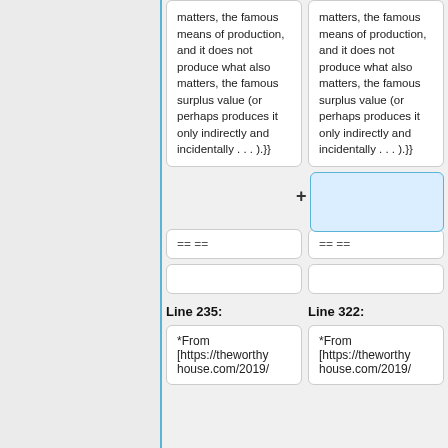matters, the famous means of production, and it does not produce what also matters, the famous surplus value (or perhaps produces it only indirectly and incidentally . . . ).}}
matters, the famous means of production, and it does not produce what also matters, the famous surplus value (or perhaps produces it only indirectly and incidentally . . . ).}}
== ==
== ==
Line 235:
Line 322:
*From [https://theworthyhouse.com/2019/
*From [https://theworthyhouse.com/2019/